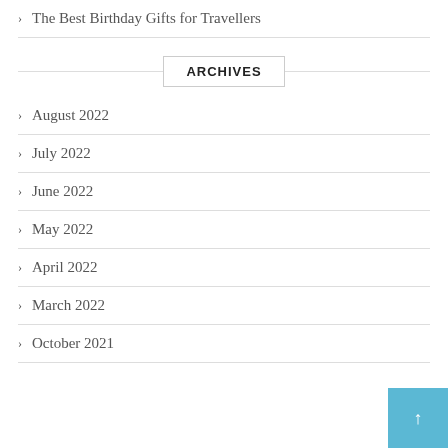The Best Birthday Gifts for Travellers
ARCHIVES
August 2022
July 2022
June 2022
May 2022
April 2022
March 2022
October 2021